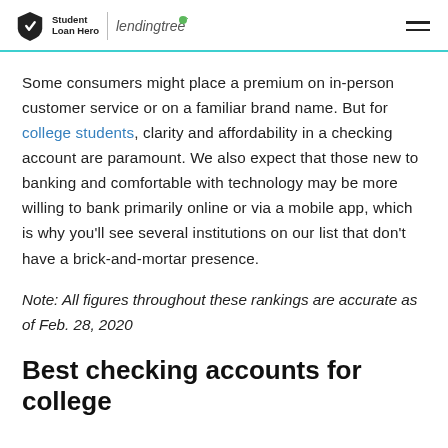Student Loan Hero | lendingtree
Some consumers might place a premium on in-person customer service or on a familiar brand name. But for college students, clarity and affordability in a checking account are paramount. We also expect that those new to banking and comfortable with technology may be more willing to bank primarily online or via a mobile app, which is why you’ll see several institutions on our list that don’t have a brick-and-mortar presence.
Note: All figures throughout these rankings are accurate as of Feb. 28, 2020
Best checking accounts for college